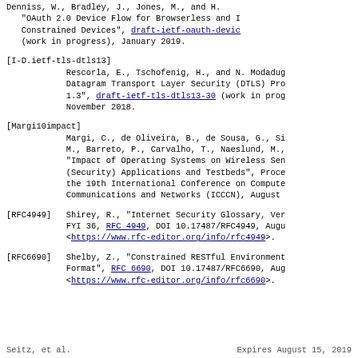Denniss, W., Bradley, J., Jones, M., and H. "OAuth 2.0 Device Flow for Browserless and I Constrained Devices", draft-ietf-oauth-devic (work in progress), January 2019.
[I-D.ietf-tls-dtls13] Rescorla, E., Tschofenig, H., and N. Modadug Datagram Transport Layer Security (DTLS) Pro 1.3", draft-ietf-tls-dtls13-30 (work in prog November 2018.
[Margi10impact] Margi, C., de Oliveira, B., de Sousa, G., Si M., Barreto, P., Carvalho, T., Naeslund, M., "Impact of Operating Systems on Wireless Sen (Security) Applications and Testbeds", Proce the 19th International Conference on Compute Communications and Networks (ICCCN), August
[RFC4949] Shirey, R., "Internet Security Glossary, Ver FYI 36, RFC 4949, DOI 10.17487/RFC4949, Augu <https://www.rfc-editor.org/info/rfc4949>.
[RFC6690] Shelby, Z., "Constrained RESTful Environment Format", RFC 6690, DOI 10.17487/RFC6690, Aug <https://www.rfc-editor.org/info/rfc6690>.
Seitz, et al.              Expires August 15, 2019